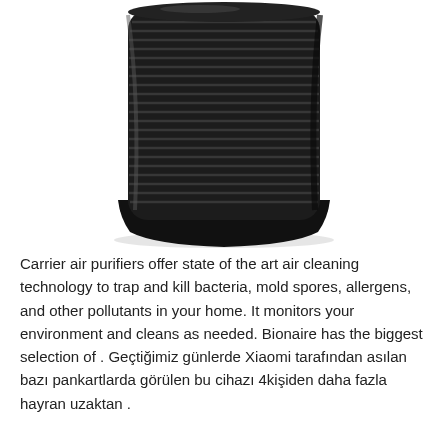[Figure (photo): A black cylindrical tower air purifier with horizontal ridged slats, photographed on a white background.]
Carrier air purifiers offer state of the art air cleaning technology to trap and kill bacteria, mold spores, allergens, and other pollutants in your home. It monitors your environment and cleans as needed. Bionaire has the biggest selection of . Geçtiğimiz günlerde Xiaomi tarafından asılan bazı pankartlarda görülen bu cihazı 4kişiden daha fazla hayran uzaktan .